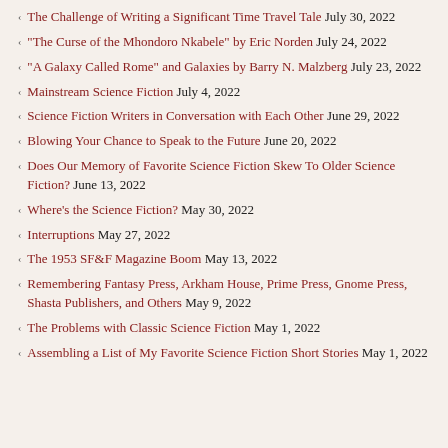The Challenge of Writing a Significant Time Travel Tale July 30, 2022
“The Curse of the Mhondoro Nkabele” by Eric Norden July 24, 2022
“A Galaxy Called Rome” and Galaxies by Barry N. Malzberg July 23, 2022
Mainstream Science Fiction July 4, 2022
Science Fiction Writers in Conversation with Each Other June 29, 2022
Blowing Your Chance to Speak to the Future June 20, 2022
Does Our Memory of Favorite Science Fiction Skew To Older Science Fiction? June 13, 2022
Where’s the Science Fiction? May 30, 2022
Interruptions May 27, 2022
The 1953 SF&F Magazine Boom May 13, 2022
Remembering Fantasy Press, Arkham House, Prime Press, Gnome Press, Shasta Publishers, and Others May 9, 2022
The Problems with Classic Science Fiction May 1, 2022
Assembling a List of My Favorite Science Fiction Short Stories May 1, 2022